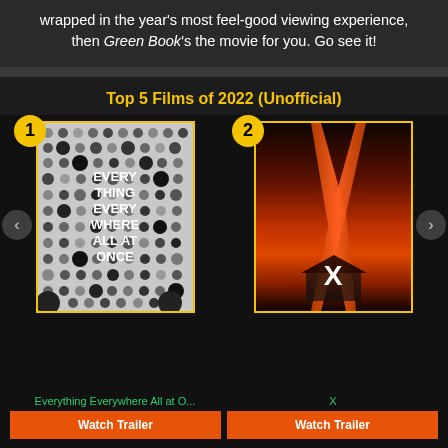wrapped in the year's most feel-good viewing experience, then Green Book's the movie for you. Go see it!
Top 5 Films of 2022 (Unofficial)
[Figure (other): Movie poster for 'Everything Everywhere All at Once' with black and white dotted pattern and bold text. Rank badge '1' in yellow circle.]
Everything Everywhere All at O...
Watch Trailer
Release Date
April 08, 2022
[Figure (other): Movie poster for 'X' - dark red/orange dramatic tones with legs and farmhouse silhouette. Rank badge '2' in yellow circle.]
X
Watch Trailer
Release Date
March 18, 2022
Coming Soon